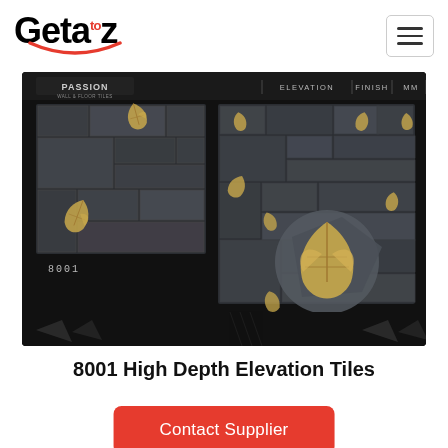Geta'toz
[Figure (photo): Product photo of 8001 High Depth Elevation Tiles showing two tile panel designs with dark gray stone brick pattern and gold/bronze leaf motifs. Left panel shows a smaller sample labeled '8001', right panel shows a larger detailed view. Text at top reads 'PASSION' on the left and 'ELEVATION | FINISH | MM' on the right. Background is dark/black.]
8001 High Depth Elevation Tiles
Contact Supplier